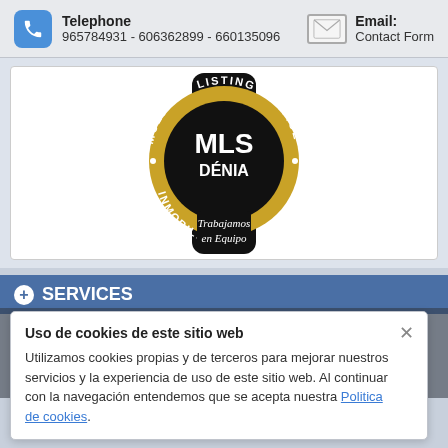Telephone 965784931 - 606362899 - 660135096   Email: Contact Form
[Figure (logo): MLS Dénia logo — circular gold badge on black background with text 'MULTIPLE LISTING SERVICE', 'MLS DÉNIA', 'INMOBILIARIAS', and italic text 'Trabajamos en Equipo']
SERVICES
Uso de cookies de este sitio web
Utilizamos cookies propias y de terceros para mejorar nuestros servicios y la experiencia de uso de este sitio web. Al continuar con la navegación entendemos que se acepta nuestra Politica de cookies.